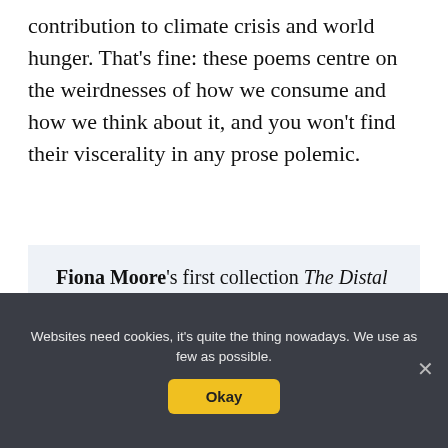contribution to climate crisis and world hunger. That's fine: these poems centre on the weirdnesses of how we consume and how we think about it, and you won't find their viscerality in any prose polemic.
Fiona Moore's first collection The Distal Point (HappenStance) was shortlisted for the 2019 TS Eliot and Seamus Heaney Prizes and was a
Websites need cookies, it's quite the thing nowadays. We use as few as possible.